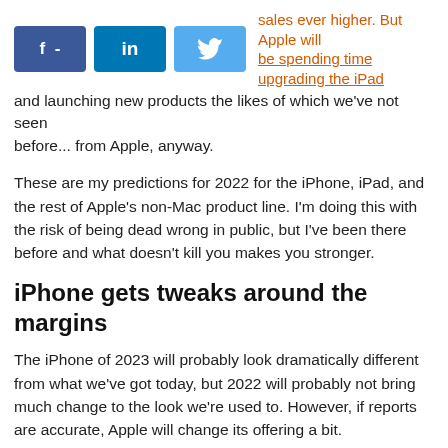[Figure (infographic): Social media share buttons: Facebook (f -), LinkedIn (in), Twitter (bird icon)]
sales ever higher. But Apple will be spending time upgrading the iPad and launching new products the likes of which we've not seen before... from Apple, anyway.
These are my predictions for 2022 for the iPhone, iPad, and the rest of Apple's non-Mac product line. I'm doing this with the risk of being dead wrong in public, but I've been there before and what doesn't kill you makes you stronger.
iPhone gets tweaks around the margins
The iPhone of 2023 will probably look dramatically different from what we've got today, but 2022 will probably not bring much change to the look we're used to. However, if reports are accurate, Apple will change its offering a bit.
First, the iPhone SE is due for a refresh. Nobody gets excited about the iPhone SE, but it's important for Apple to create an iPhone with an entry price that's more palatable in some markets and with some